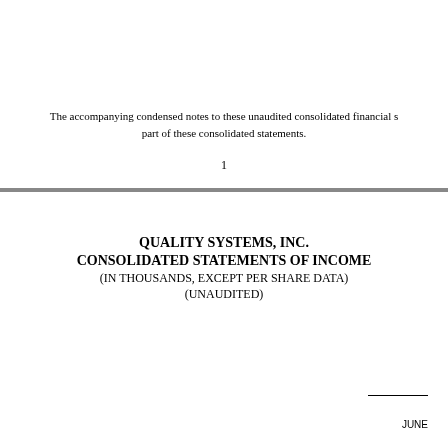The accompanying condensed notes to these unaudited consolidated financial statements are an integral part of these consolidated statements.
1
QUALITY SYSTEMS, INC.
CONSOLIDATED STATEMENTS OF INCOME
(IN THOUSANDS, EXCEPT PER SHARE DATA)
(UNAUDITED)
JUNE